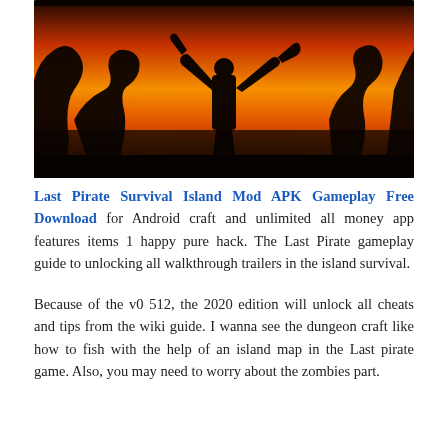[Figure (illustration): A stylized illustration showing dark silhouettes of figures against a warm orange-red sunset background. The central figure stands with arms outstretched holding tools (possibly a knife and axe), flanked by other dark silhouetted figures and tree-like shapes. The color palette transitions from deep orange to red-orange.]
Last Pirate Survival Island Mod APK Gameplay Free Download for Android craft and unlimited all money app features items 1 happy pure hack. The Last Pirate gameplay guide to unlocking all walkthrough trailers in the island survival.
Because of the v0 512, the 2020 edition will unlock all cheats and tips from the wiki guide. I wanna see the dungeon craft like how to fish with the help of an island map in the Last pirate game. Also, you may need to worry about the zombies part.